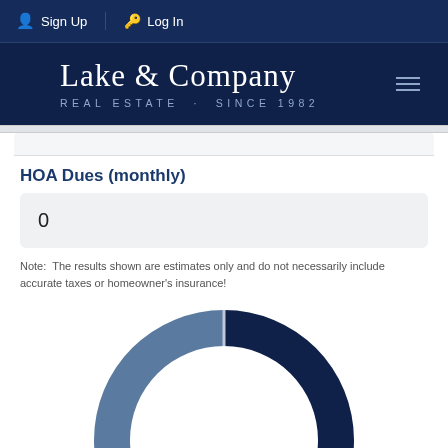Sign Up  Log In
Lake & Company
REAL ESTATE · SINCE 1982
HOA Dues (monthly)
0
Note: The results shown are estimates only and do not necessarily include accurate taxes or homeowner's insurance!
[Figure (donut-chart): Partial donut chart showing cost breakdown with a large blue segment and a steel-blue segment, center text shows dollar amount starting with $17,000-something]